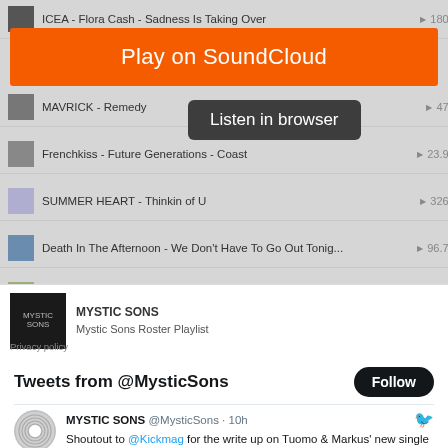[Figure (screenshot): SoundCloud playlist widget showing tracks: ICEA - Flora Cash - Sadness Is Taking Over (180K plays), MAVRICK - Remedy (47K), Frenchkiss - Future Generations - Coast (23.9K), SUMMER HEART - Thinkin of U (326K), Death In The Afternoon - We Don't Have To Go Out Tonig... (96.7K), Gabrielle Papillon - 01 Got You Well (51.9K), with a 'Play on SoundCloud' orange button and 'Listen in browser' tooltip. Footer shows MYSTIC SONS / Mystic Sons Roster Playlist.]
Tweets from @MysticSons
MYSTIC SONS @MysticSons · 10h
Shoutout to @Kickmag for the write up on Tuomo & Markus' new single 'We're Not Buying It'! kickmag.net/2022/08/31/lis...